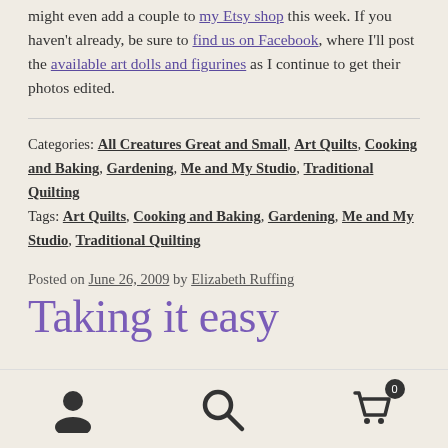might even add a couple to my Etsy shop this week. If you haven't already, be sure to find us on Facebook, where I'll post the available art dolls and figurines as I continue to get their photos edited.
Categories: All Creatures Great and Small, Art Quilts, Cooking and Baking, Gardening, Me and My Studio, Traditional Quilting Tags: Art Quilts, Cooking and Baking, Gardening, Me and My Studio, Traditional Quilting
Posted on June 26, 2009 by Elizabeth Ruffing
Taking it easy
Navigation bar with account, search, and cart icons